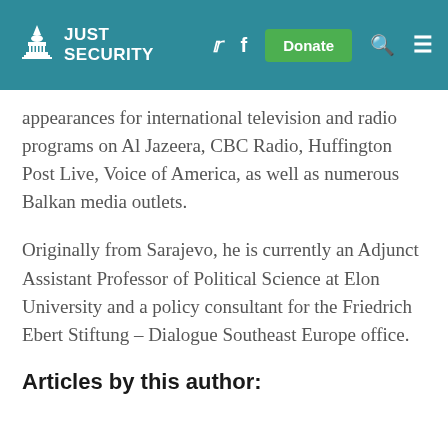Just Security — navigation header with logo, Twitter, Facebook, Donate, Search, Menu
appearances for international television and radio programs on Al Jazeera, CBC Radio, Huffington Post Live, Voice of America, as well as numerous Balkan media outlets.
Originally from Sarajevo, he is currently an Adjunct Assistant Professor of Political Science at Elon University and a policy consultant for the Friedrich Ebert Stiftung – Dialogue Southeast Europe office.
Articles by this author: